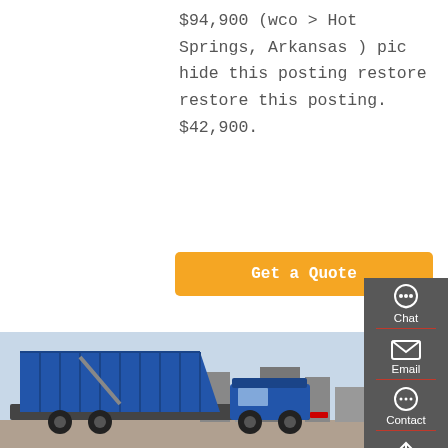$94,900 (wco > Hot Springs, Arkansas ) pic hide this posting restore restore this posting. $42,900.
[Figure (other): Orange 'Get a Quote' button]
[Figure (photo): Blue dump truck with raised bed, parked outdoors]
Sinotruk International Sales CO.,LTD
SINOTRUK was established following the reform and restructuring in 2001, and has become a
[Figure (infographic): Dark gray sidebar with Chat, Email, Contact, and Top navigation icons]